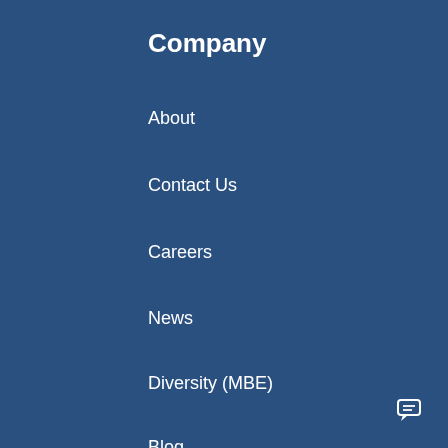Company
About
Contact Us
Careers
News
Diversity (MBE)
Blog
We use cookies on our w... relevant experience by re... repeat visits. By clicking '... use of ALL the cookies. H... Settings" to provide a controlled consent.
Welcome to FortifyData. Have a question about our automated cyber risk management platform for business? Please ask.
[Figure (screenshot): FortifyData logo in chat popup]
[Figure (screenshot): Chat bubble button icon]